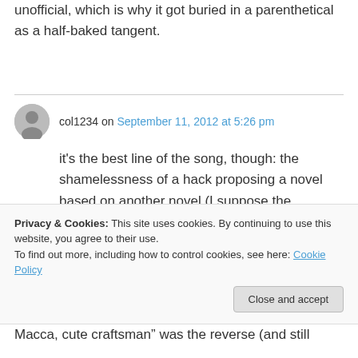unofficial, which is why it got buried in a parenthetical as a half-baked tangent.
col1234 on September 11, 2012 at 5:26 pm
it’s the best line of the song, though: the shamelessness of a hack proposing a novel based on another novel (I suppose the equivalent today would be someone trying to sell a “Twilight” knockoff), with also the subtext of McCartney taking a slight dig at Lennon beneath
Privacy & Cookies: This site uses cookies. By continuing to use this website, you agree to their use.
To find out more, including how to control cookies, see here: Cookie Policy
Close and accept
Macca, cute craftsman” was the reverse (and still